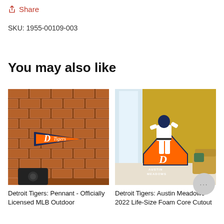↑ Share
SKU: 1955-00109-003
You may also like
[Figure (photo): Detroit Tigers orange pennant with 'D Tigers' logo mounted on a brick wall above a speaker]
Detroit Tigers: Pennant - Officially Licensed MLB Outdoor
[Figure (photo): Detroit Tigers Austin Meadows 2022 life-size foam core cutout standee in a room setting with 'AUSTIN MEADOWS' text at base]
Detroit Tigers: Austin Meadows 2022 Life-Size Foam Core Cutout